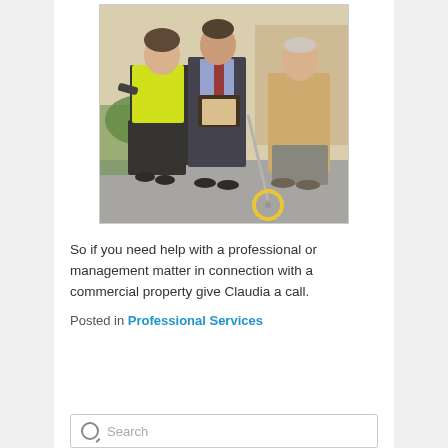[Figure (photo): Three people standing outdoors in a car park. A woman on the left wears a high-visibility yellow vest and a dark polka-dot dress. A man in the centre wears a dark suit and tie. An older man on the right wears a tan jacket. The person in the centre appears to be holding a measuring wheel tool.]
So if you need help with a professional or management matter in connection with a commercial property give Claudia a call.
Posted in Professional Services